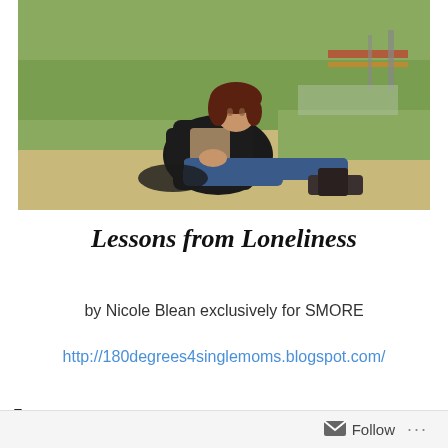[Figure (photo): A young woman with dark hair sitting alone outdoors on the ground in a park, wearing a black jacket and boots, with grass and trees in the background. She appears contemplative or sad.]
Lessons from Loneliness
by Nicole Blean exclusively for SMORE
http://180degrees4singlemoms.blogspot.com/
To ...
Follow ...